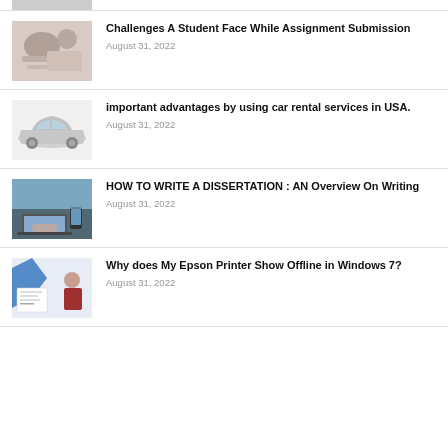[Figure (photo): Partial thumbnail of a student writing assignment, cropped at top]
Challenges A Student Face While Assignment Submission
August 31, 2022
[Figure (photo): Thumbnail of a silver car (Toyota Prius style)]
important advantages by using car rental services in USA.
August 31, 2022
[Figure (photo): Thumbnail of person typing on laptop with phone, dissertation/writing theme]
HOW TO WRITE A DISSERTATION : AN Overview On Writing
August 31, 2022
[Figure (photo): Thumbnail showing Epson printer offline Windows 7 article thumbnail with person and printer graphic]
Why does My Epson Printer Show Offline in Windows 7?
August 31, 2022